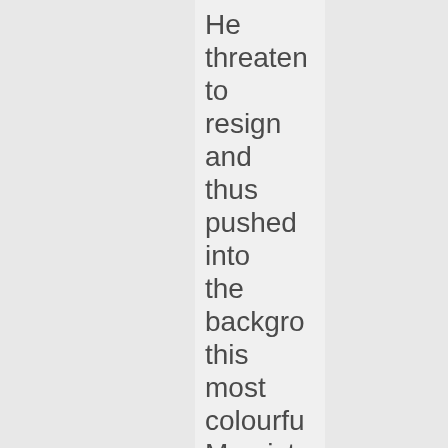He threaten to resign and thus pushed into the backgro this most colourfu Marxist. Richard' men strove to turn